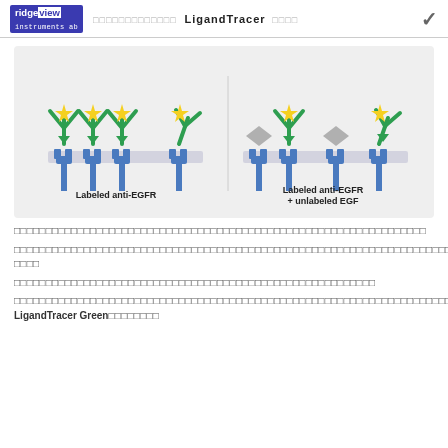ridgeview instruments ab  [nav squares]  LigandTracer [squares]
[Figure (illustration): Scientific diagram showing two scenarios: Left side labeled 'Labeled anti-EGFR' shows antibodies (green Y-shapes with yellow star labels) bound to EGFR receptors (blue fork shapes) on a cell membrane (gray bar). Right side labeled 'Labeled anti-EGFR + unlabeled EGF' shows the same setup but with diamond-shaped unlabeled EGF molecules (gray diamonds) competing with the labeled antibodies for receptor binding.]
[Japanese text block 1 - full width line of Japanese characters]
[Japanese text block 2 - two lines of Japanese characters]
[Japanese text block 3 - one line of Japanese characters]
[Japanese text block 4 - one and a half lines ending with LigandTracer Green followed by Japanese characters]